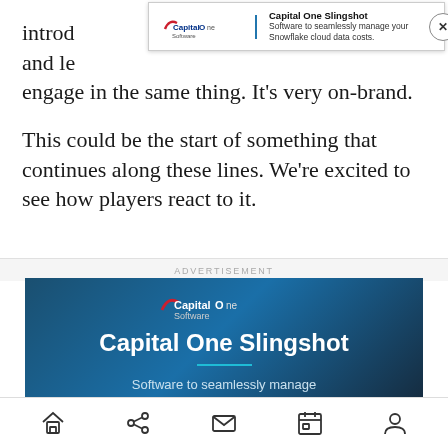introd…e, and let the entire audience across all platforms engage in the same thing. It's very on-brand.
This could be the start of something that continues along these lines. We're excited to see how players react to it.
[Figure (screenshot): Capital One Software Slingshot top ad banner overlay with logo, title 'Capital One Slingshot', description 'Software to seamlessly manage your Snowflake cloud data costs.' and close button X]
ADVERTISEMENT
[Figure (screenshot): Capital One Software advertisement banner with dark blue background showing logo, 'Capital One Slingshot' title, teal divider, and text 'Software to seamlessly manage your Snowflake cloud data costs.']
Home | Share | Mail | Calendar | Profile navigation icons